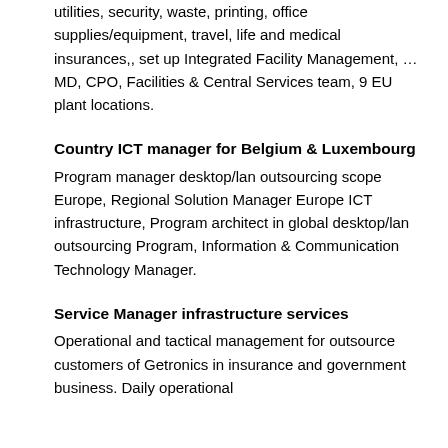utilities, security, waste, printing, office supplies/equipment, travel, life and medical insurances,, set up Integrated Facility Management, …
MD, CPO, Facilities & Central Services team, 9 EU plant locations.
Country ICT manager for Belgium & Luxembourg
Program manager desktop/lan outsourcing scope Europe, Regional Solution Manager Europe ICT infrastructure, Program architect in global desktop/lan outsourcing Program, Information & Communication Technology Manager.
Service Manager infrastructure services
Operational and tactical management for outsource customers of Getronics in insurance and government business. Daily operational